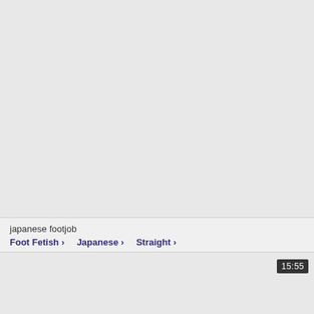[Figure (screenshot): Top video thumbnail area, light gray background, no visible content]
japanese footjob
Foot Fetish >   Japanese >   Straight >
[Figure (screenshot): Bottom video thumbnail area with duration badge showing 15:55]
15:55